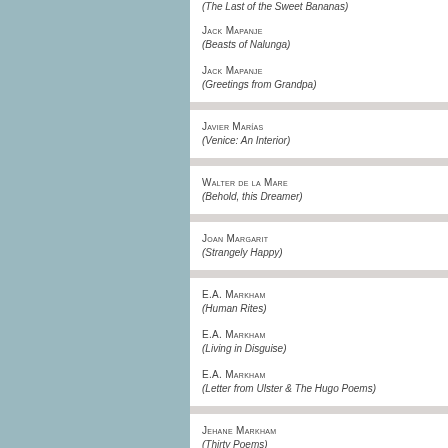(The Last of the Sweet Bananas)
Jack Mapanje
(Beasts of Nalunga)
Jack Mapanje
(Greetings from Grandpa)
Javier Marías
(Venice: An Interior)
Walter de la Mare
(Behold, this Dreamer)
Joan Margarit
(Strangely Happy)
E.A. Markham
(Human Rites)
E.A. Markham
(Living in Disguise)
E.A. Markham
(Letter from Ulster & The Hugo Poems)
Jehane Markham
(Thirty Poems)
Robyn Marsack
(The Cave of Making: The Poetry of Louis MacN…)